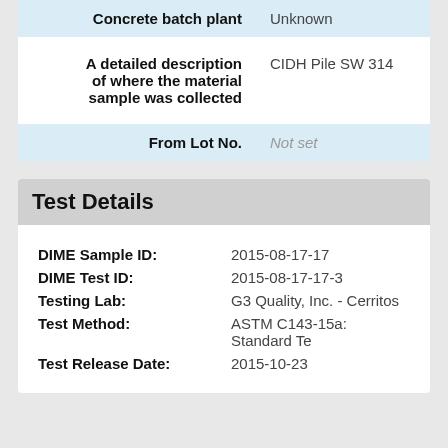| Field | Value |
| --- | --- |
| Concrete batch plant | Unknown |
| A detailed description of where the material sample was collected | CIDH Pile SW 314 |
| From Lot No. | Not set |
Test Details
| Field | Value |
| --- | --- |
| DIME Sample ID: | 2015-08-17-17 |
| DIME Test ID: | 2015-08-17-17-3 |
| Testing Lab: | G3 Quality, Inc. - Cerritos |
| Test Method: | ASTM C143-15a: Standard Te |
| Test Release Date: | 2015-10-23 |